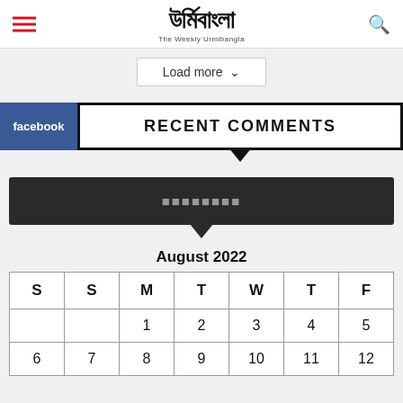The Weekly Urmibangla
Load more
RECENT COMMENTS
আর্কাইভ
August 2022
| S | S | M | T | W | T | F |
| --- | --- | --- | --- | --- | --- | --- |
|  |  | 1 | 2 | 3 | 4 | 5 |
| 6 | 7 | 8 | 9 | 10 | 11 | 12 |